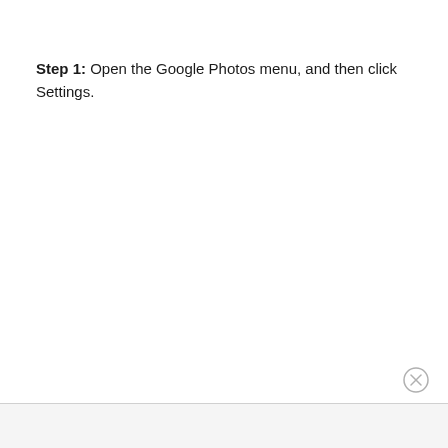Step 1: Open the Google Photos menu, and then click Settings.